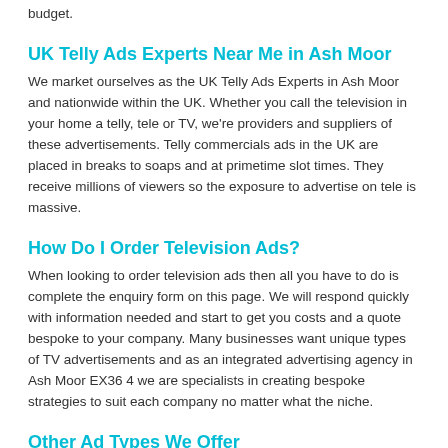budget.
UK Telly Ads Experts Near Me in Ash Moor
We market ourselves as the UK Telly Ads Experts in Ash Moor and nationwide within the UK. Whether you call the television in your home a telly, tele or TV, we're providers and suppliers of these advertisements. Telly commercials ads in the UK are placed in breaks to soaps and at primetime slot times. They receive millions of viewers so the exposure to advertise on tele is massive.
How Do I Order Television Ads?
When looking to order television ads then all you have to do is complete the enquiry form on this page. We will respond quickly with information needed and start to get you costs and a quote bespoke to your company. Many businesses want unique types of TV advertisements and as an integrated advertising agency in Ash Moor EX36 4 we are specialists in creating bespoke strategies to suit each company no matter what the niche.
Other Ad Types We Offer
[Figure (other): Gray bar/divider at the bottom of the page]